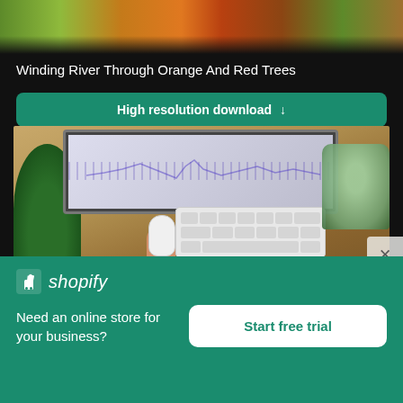[Figure (photo): Aerial/top-down photo strip of autumn trees with orange and red foliage, winding river]
Winding River Through Orange And Red Trees
High resolution download ↓
[Figure (photo): Top-down view of a desk with iMac computer, white keyboard, mouse, green plant, and bag of food on wooden desk surface]
Need an online store for your business?
Start free trial